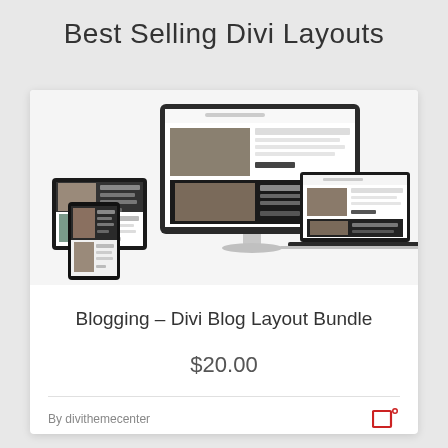Best Selling Divi Layouts
[Figure (screenshot): Product mockup showing a Divi blog layout on desktop iMac, laptop, tablet, and phone screens]
Blogging – Divi Blog Layout Bundle
$20.00
By divithemecenter